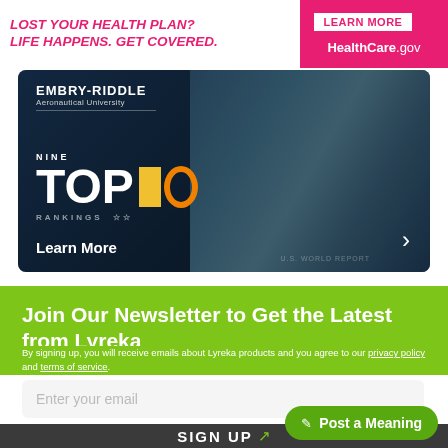[Figure (screenshot): HealthCare.gov advertisement banner: pink/magenta background on right with 'LEARN MORE' button and HealthCare.gov text; white left side with pink italic text 'LOST YOUR HEALTH PLAN? LIFE HAPPENS. GET COVERED.']
[Figure (screenshot): Embry-Riddle Aeronautical University advertisement banner showing 'NINE TOP 10 RANKINGS' with a gloved hand holding a microchip, Learn More button and arrow]
Join Our Newsletter to Get the Latest from Lyreka
By signing up, you will receive emails about Lyreka products and you agree to our privacy policy and terms of service.
Enter your email
✎ Post a Meaning
SIGN UP